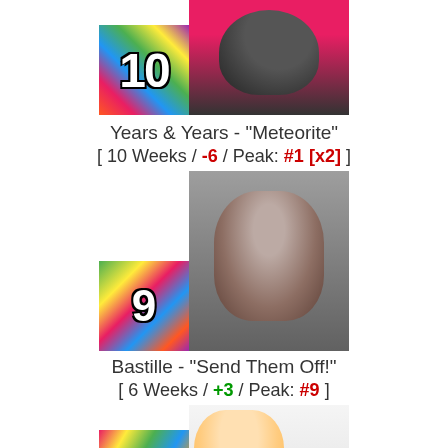[Figure (photo): Rank 10 badge with colorful mosaic background and number 10, alongside silhouette photo of Years & Years artist]
Years & Years - "Meteorite"
[ 10 Weeks / -6 / Peak: #1 [x2] ]
[Figure (photo): Rank 9 badge with colorful mosaic background and number 9, alongside photo of Bastille artist (Dan Smith)]
Bastille - "Send Them Off!"
[ 6 Weeks / +3 / Peak: #9 ]
[Figure (photo): Rank 8 badge with colorful mosaic background and number 8, alongside photo of female artist with microphone]